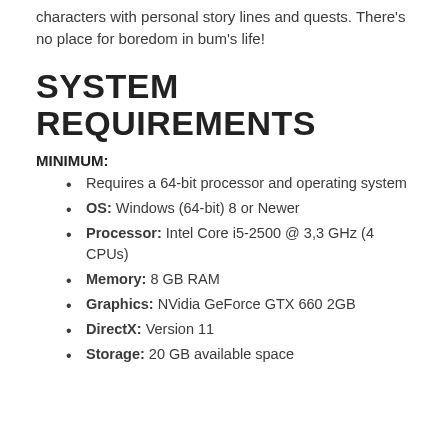characters with personal story lines and quests. There's no place for boredom in bum's life!
SYSTEM REQUIREMENTS
MINIMUM:
Requires a 64-bit processor and operating system
OS: Windows (64-bit) 8 or Newer
Processor: Intel Core i5-2500 @ 3,3 GHz (4 CPUs)
Memory: 8 GB RAM
Graphics: NVidia GeForce GTX 660 2GB
DirectX: Version 11
Storage: 20 GB available space